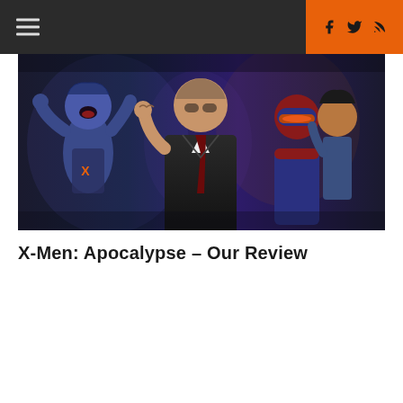≡ [hamburger menu] | [Facebook] [Twitter] [RSS]
[Figure (photo): X-Men: Apocalypse movie promotional image showing superhero characters in dramatic poses, including figures in blue mutant makeup, a man in a suit, and costumed heroes against a dark background]
X-Men: Apocalypse – Our Review